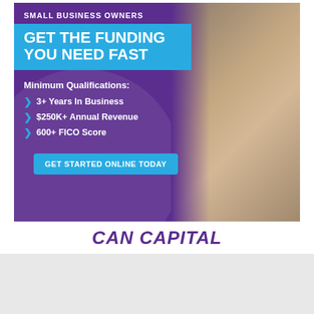[Figure (infographic): Can Capital small business loan advertisement banner with purple background, blue headline box reading 'GET THE FUNDING YOU NEED FAST', minimum qualifications listed (3+ Years In Business, $250K+ Annual Revenue, 600+ FICO Score), a cyan 'GET STARTED ONLINE TODAY' CTA button, and a photo of a smiling man in an apron holding a coffee pot on the right side.]
CAN CAPITAL
Camping Boerderij Wetland